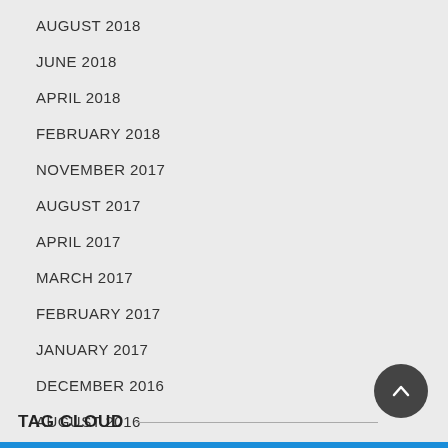AUGUST 2018
JUNE 2018
APRIL 2018
FEBRUARY 2018
NOVEMBER 2017
AUGUST 2017
APRIL 2017
MARCH 2017
FEBRUARY 2017
JANUARY 2017
DECEMBER 2016
AUGUST 2016
JULY 2016
MAY 2016
APRIL 2016
TAG CLOUD